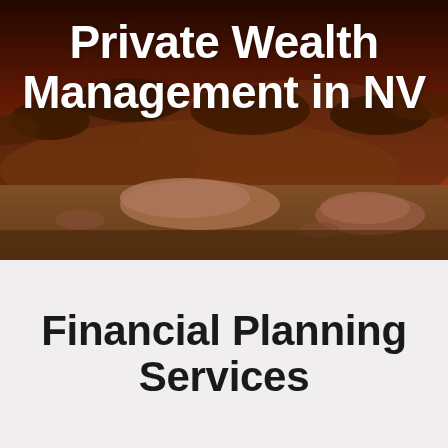[Figure (photo): Aerial/ground-level desert landscape photo with reddish-brown rocky terrain, sparse desert shrubs, and large stones in a sandy arid environment. Warm orange and brown tones dominate the scene.]
Private Wealth Management in NV
Financial Planning Services